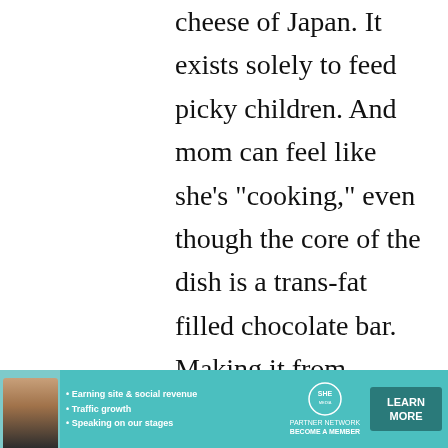cheese of Japan. It exists solely to feed picky children. And mom can feel like she's "cooking," even though the core of the dish is a trans-fat filled chocolate bar. Making it from "scratch" reminds me of the gourmet mac & cheese boom of a couple years
[Figure (infographic): Advertisement banner with teal background. Shows a woman's photo, bullet points: 'Earning site & social revenue', 'Traffic growth', 'Speaking on our stages'. SHE Partner Network logo with 'BECOME A MEMBER' text. 'LEARN MORE' button.]